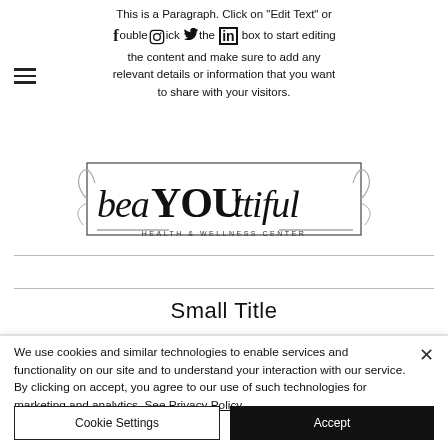This is a Paragraph. Click on "Edit Text" or double click the box to start editing the content and make sure to add any relevant details or information that you want to share with your visitors.
[Figure (logo): beaYOUtiful HEALTH & WELLNESS CENTER logo in script and serif text with decorative border and flourishes]
Small Title
We use cookies and similar technologies to enable services and functionality on our site and to understand your interaction with our service. By clicking on accept, you agree to our use of such technologies for marketing and analytics. See Privacy Policy
Cookie Settings
Accept